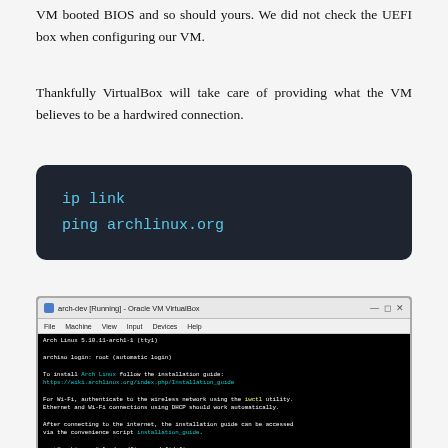VM booted BIOS and so should yours. We did not check the UEFI box when configuring our VM.
Thankfully VirtualBox will take care of providing what the VM believes to be a hardwired connection.
[Figure (screenshot): Dark terminal code box showing two commands: 'ip link' and 'ping archlinux.org' in cyan monospace font on dark background]
[Figure (screenshot): VirtualBox VM window titled 'arch-dev [Running] - Oracle VM VirtualBox' showing Arch Linux terminal boot output with ip link and ping archlinux.org commands being run]